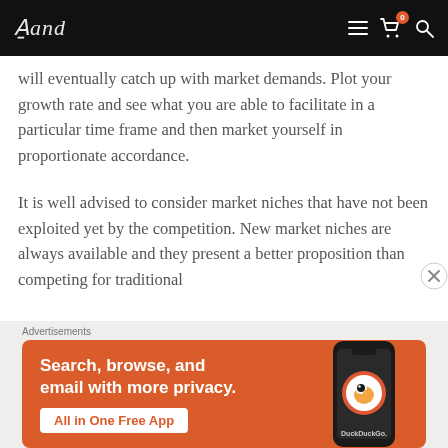And [logo] — navigation bar with hamburger menu, cart (0), and search icons
will eventually catch up with market demands. Plot your growth rate and see what you are able to facilitate in a particular time frame and then market yourself in proportionate accordance.
It is well advised to consider market niches that have not been exploited yet by the competition. New market niches are always available and they present a better proposition than competing for traditional
[Figure (screenshot): DuckDuckGo advertisement banner: orange background with white bold text 'Search, browse, and email with more privacy.' with a white button 'All in One Free App' and a smartphone image showing the DuckDuckGo app icon and logo]
Advertisements